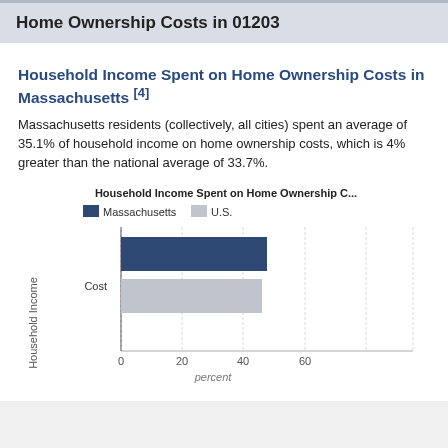Home Ownership Costs in 01203
Household Income Spent on Home Ownership Costs in Massachusetts [4]
Massachusetts residents (collectively, all cities) spent an average of 35.1% of household income on home ownership costs, which is 4% greater than the national average of 33.7%.
[Figure (bar-chart): Household Income Spent on Home Ownership C...]